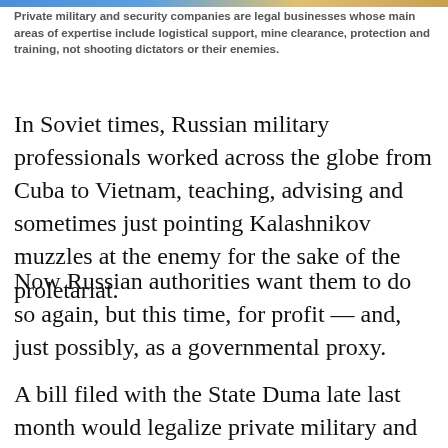Private military and security companies are legal businesses whose main areas of expertise include logistical support, mine clearance, protection and training, not shooting dictators or their enemies.
In Soviet times, Russian military professionals worked across the globe from Cuba to Vietnam, teaching, advising and sometimes just pointing Kalashnikov muzzles at the enemy for the sake of the proletariat.
Now Russian authorities want them to do so again, but this time, for profit — and, just possibly, as a governmental proxy.
A bill filed with the State Duma late last month would legalize private military and security companies